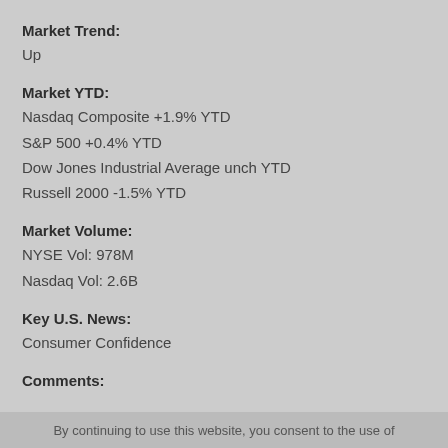Market Trend:
Up
Market YTD:
Nasdaq Composite +1.9% YTD
S&P 500 +0.4% YTD
Dow Jones Industrial Average unch YTD
Russell 2000 -1.5% YTD
Market Volume:
NYSE Vol: 978M
Nasdaq Vol: 2.6B
Key U.S. News:
Consumer Confidence
Comments:
By continuing to use this website, you consent to the use of